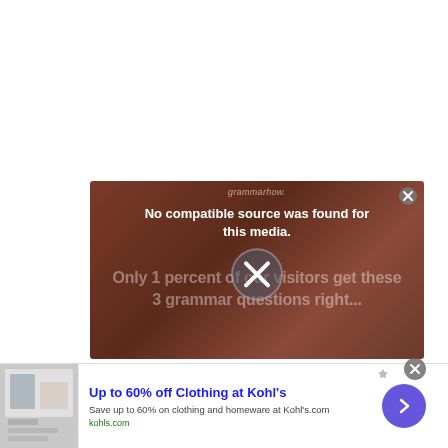[Figure (screenshot): A video player overlay with a dark reddish-brown gradient background. Shows 'grammarhow.' watermark text at top. Displays error message 'No compatible source was found for this media.' in white bold text. Behind the error, dimmed text reads 'Only 1 percent of our visitors get these 3 grammar questions right...' A close button (X in circle) appears in the top-right corner, and a large circle-X dismiss button appears in the center.]
[Figure (screenshot): Advertisement banner at bottom of page for Kohl's: 'Up to 60% off Clothing at Kohl's'. Shows a thumbnail image on the left, bold blue title text, description 'Save up to 60% on clothing and homeware at Kohl's.com', green URL 'kohls.com', a purple circular arrow button on the right, and a close X button.]